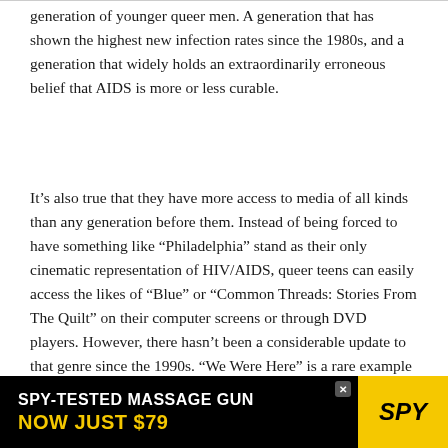generation of younger queer men. A generation that has shown the highest new infection rates since the 1980s, and a generation that widely holds an extraordinarily erroneous belief that AIDS is more or less curable.
It’s also true that they have more access to media of all kinds than any generation before them. Instead of being forced to have something like “Philadelphia” stand as their only cinematic representation of HIV/AIDS, queer teens can easily access the likes of “Blue” or “Common Threads: Stories From The Quilt” on their computer screens or through DVD players. However, there hasn’t been a considerable update to that genre since the 1990s. “We Were Here” is a rare example from the past decade or so, independent or otherwise.
[Figure (infographic): Advertisement banner: SPY-TESTED MASSAGE GUN NOW JUST $79 with SPY logo on yellow background]